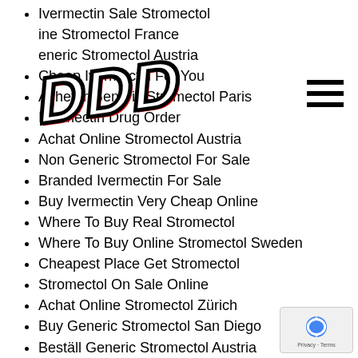Ivermectin Sale Stromectol
…ine Stromectol France
…eneric Stromectol Austria
Cheap Ivermectin For You
Acheter Generic Stromectol Paris
Ivermectin Drug Order
Achat Online Stromectol Austria
Non Generic Stromectol For Sale
Branded Ivermectin For Sale
Buy Ivermectin Very Cheap Online
Where To Buy Real Stromectol
Where To Buy Online Stromectol Sweden
Cheapest Place Get Stromectol
Stromectol On Sale Online
Achat Online Stromectol Zürich
Buy Generic Stromectol San Diego
Beställ Generic Stromectol Austria
Ivermectin Genuine Sale